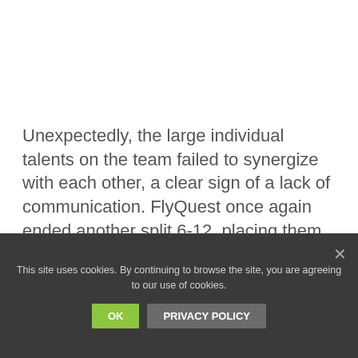Unexpectedly, the large individual talents on the team failed to synergize with each other, a clear sign of a lack of communication. FlyQuest once again ended another split 6-12, placing them eight in the 2018 NA LCS Spring Split.
It is unlikely the roster will change as FQ moves
This site uses cookies. By continuing to browse the site, you are agreeing to our use of cookies.